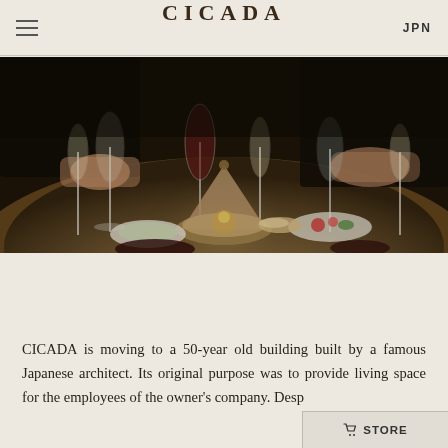CICADA  JPN
[Figure (photo): Overhead view of a dinner table with wine glasses, champagne flutes, plates of food including what appears to be a tagine dish, salads, and bread. People's hands and arms visible around the table in a dark, atmospheric restaurant setting.]
CICADA is moving to a 50-year old building built by a famous Japanese architect. Its original purpose was to provide living space for the employees of the owner's company. Desp